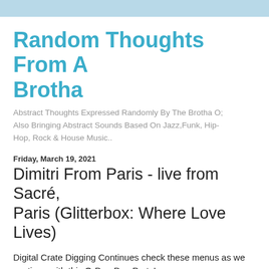Random Thoughts From A Brotha
Abstract Thoughts Expressed Randomly By The Brotha O; Also Bringing Abstract Sounds Based On Jazz,Funk, Hip-Hop, Rock & House Music..
Friday, March 19, 2021
Dimitri From Paris - live from Sacré, Paris (Glitterbox: Where Love Lives)
Digital Crate Digging Continues check these menus as we continue with this O-Dog Day Party!
Friday afternoon is transitioning into a Friday evening, then